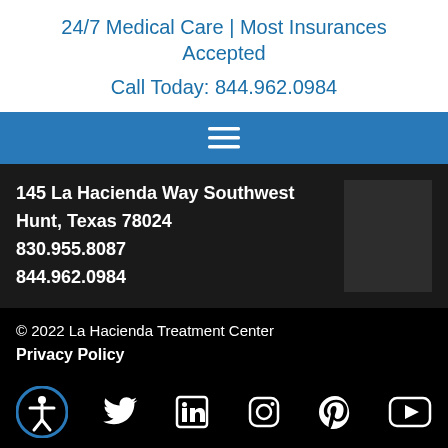24/7 Medical Care | Most Insurances Accepted
Call Today: 844.962.0984
[Figure (other): Hamburger menu icon (three horizontal lines) on blue navigation bar]
145 La Hacienda Way Southwest
Hunt, Texas 78024
830.955.8087
844.962.0984
© 2022 La Hacienda Treatment Center
Privacy Policy
[Figure (other): Social media icons row: accessibility icon (blue circle), Twitter, LinkedIn, Instagram, Pinterest, YouTube]